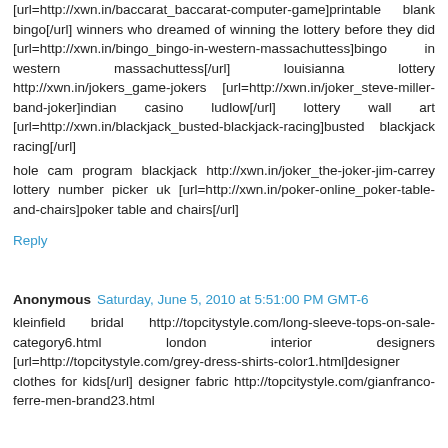[url=http://xwn.in/baccarat_baccarat-computer-game]printable blank bingo[/url] winners who dreamed of winning the lottery before they did [url=http://xwn.in/bingo_bingo-in-western-massachuttess]bingo in western massachuttess[/url] louisianna lottery http://xwn.in/jokers_game-jokers [url=http://xwn.in/joker_steve-miller-band-joker]indian casino ludlow[/url] lottery wall art [url=http://xwn.in/blackjack_busted-blackjack-racing]busted blackjack racing[/url]
hole cam program blackjack http://xwn.in/joker_the-joker-jim-carrey lottery number picker uk [url=http://xwn.in/poker-online_poker-table-and-chairs]poker table and chairs[/url]
Reply
Anonymous Saturday, June 5, 2010 at 5:51:00 PM GMT-6
kleinfield bridal http://topcitystyle.com/long-sleeve-tops-on-sale-category6.html london interior designers [url=http://topcitystyle.com/grey-dress-shirts-color1.html]designer clothes for kids[/url] designer fabric http://topcitystyle.com/gianfranco-ferre-men-brand23.html